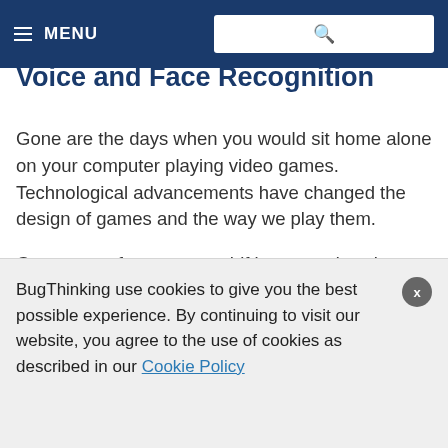≡ MENU [search bar]
Voice and Face Recognition
Gone are the days when you would sit home alone on your computer playing video games. Technological advancements have changed the design of games and the way we play them.
Game manufactures are shifting towards voice-controlled games and facial recognition as their leading technologies. By incorporating voice technology into the games, the manufacturers make the games more interactive and realistic.
BugThinking use cookies to give you the best possible experience. By continuing to visit our website, you agree to the use of cookies as described in our Cookie Policy